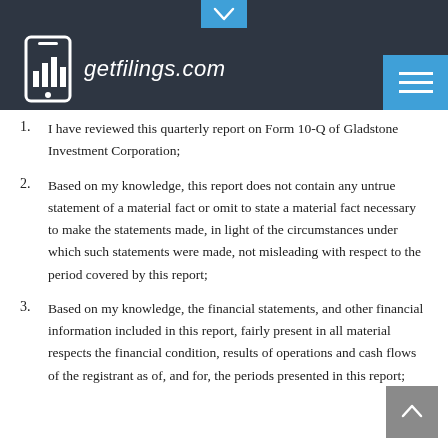getfilings.com
I have reviewed this quarterly report on Form 10-Q of Gladstone Investment Corporation;
Based on my knowledge, this report does not contain any untrue statement of a material fact or omit to state a material fact necessary to make the statements made, in light of the circumstances under which such statements were made, not misleading with respect to the period covered by this report;
Based on my knowledge, the financial statements, and other financial information included in this report, fairly present in all material respects the financial condition, results of operations and cash flows of the registrant as of, and for, the periods presented in this report;